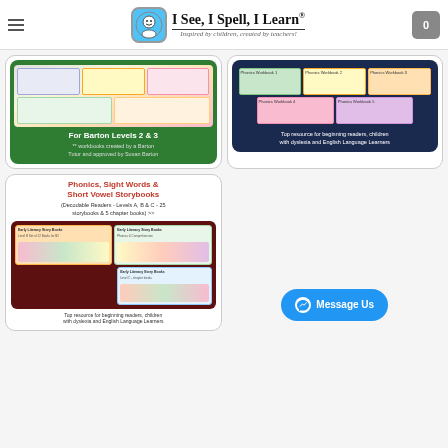I See, I Spell, I Learn® — Inspired by children, created by teachers!
[Figure (illustration): Product card with green background showing Barton Level 2 & 3 workbooks. Text: For Barton Levels 2 & 3. ** workbooks created by a Barton Tutor and approved by Susan Barton]
[Figure (illustration): Product card with navy background showing Phonics Workbooks 1-5. Text: Top resource for beginning readers, children with dyslexia and English Language Learners]
[Figure (illustration): Product card with white background showing Early Literacy Story Books. Title: Phonics, Sight Words & Short Vowel Storybooks. (Decodable Readers - Levels A, B & C - 25 storybooks & 5 chapter books) >>. Top resource for beginning readers, children with dyslexia and English Language Learners]
[Figure (illustration): Message Us button in blue with Messenger icon]